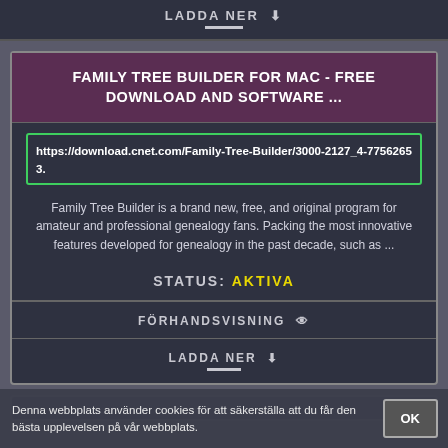LADDA NER ↓
FAMILY TREE BUILDER FOR MAC - FREE DOWNLOAD AND SOFTWARE ...
https://download.cnet.com/Family-Tree-Builder/3000-2127_4-77562653.
Family Tree Builder is a brand new, free, and original program for amateur and professional genealogy fans. Packing the most innovative features developed for genealogy in the past decade, such as ...
STATUS: AKTIVA
FÖRHANDSVISNING 👁
LADDA NER ↓
Denna webbplats använder cookies för att säkerställa att du får den bästa upplevelsen på vår webbplats. OK